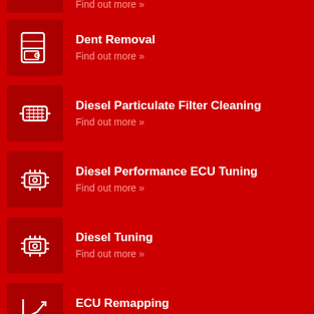Dent Removal — Find out more »
Diesel Particulate Filter Cleaning — Find out more »
Diesel Performance ECU Tuning — Find out more »
Diesel Tuning — Find out more »
ECU Remapping — Find out more »
Electric Car Repair & Servicing (partial)